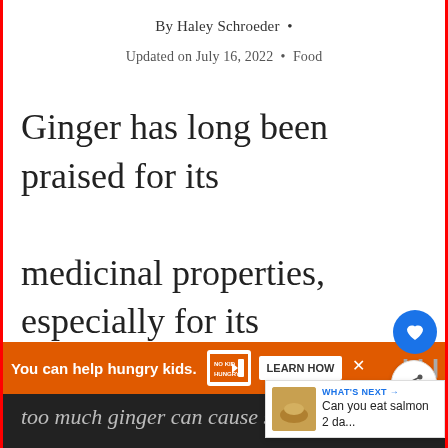By Haley Schroeder •
Updated on July 16, 2022 • Food
Ginger has long been praised for its medicinal properties, especially for its ability to aid digestion. The problem is
too much ginger can cause stomach
You can help hungry kids. NO KID HUNGRY LEARN HOW